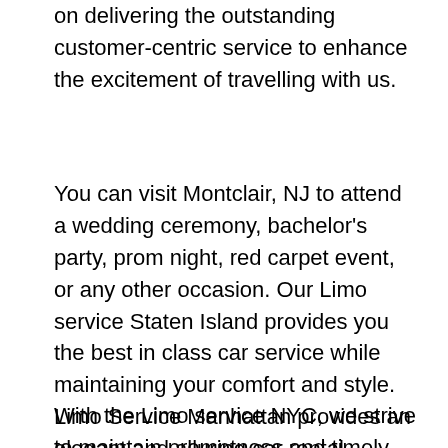on delivering the outstanding customer-centric service to enhance the excitement of travelling with us.
You can visit Montclair, NJ to attend a wedding ceremony, bachelor's party, prom night, red carpet event, or any other occasion. Our Limo service Staten Island provides you the best in class car service while maintaining your comfort and style. Limo Service Manhattan provides an elegant and alluring car rental service with professional and talented driver with the prime concern of utmost customer satisfaction and integrity.
With the Limo service NYC, we strive to maintain promptness and timely transport as our primary